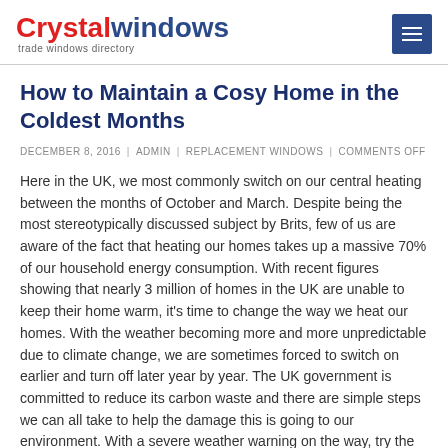Crystalwindows trade windows directory
How to Maintain a Cosy Home in the Coldest Months
DECEMBER 8, 2016 | ADMIN | REPLACEMENT WINDOWS | COMMENTS OFF
Here in the UK, we most commonly switch on our central heating between the months of October and March. Despite being the most stereotypically discussed subject by Brits, few of us are aware of the fact that heating our homes takes up a massive 70% of our household energy consumption. With recent figures showing that nearly 3 million of homes in the UK are unable to keep their home warm, it's time to change the way we heat our homes. With the weather becoming more and more unpredictable due to climate change, we are sometimes forced to switch on earlier and turn off later year by year. The UK government is committed to reduce its carbon waste and there are simple steps we can all take to help the damage this is going to our environment. With a severe weather warning on the way, try the following tips to keep your home cosy in the most cost effective way possible.